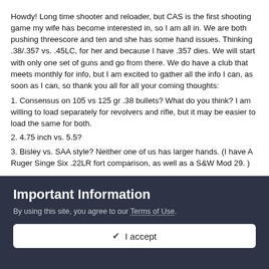Howdy!  Long time shooter and reloader, but CAS is the first shooting game my wife has become interested in, so I am all in.  We are both pushing threescore and ten and she has some hand issues.  Thinking .38/.357 vs. .45LC, for her and because I have .357 dies.  We will start with only one set of guns and go from there.   We do have a club that meets monthly for info, but I am excited to gather all the info I can, as soon as I can, so thank you all for all your coming thoughts:
1.  Consensus on 105 vs 125 gr .38 bullets?  What do you think?  I am willing to load separately for revolvers and rifle, but it may be easier to load the same for both.
2.  4.75 inch vs. 5.5?
3.  Bisley vs. SAA style?  Neither one of us has larger hands.  (I have A Ruger Singe Six .22LR fort comparison, as well as a S&W Mod 29.  )
Important Information
By using this site, you agree to our Terms of Use.
✔  I accept